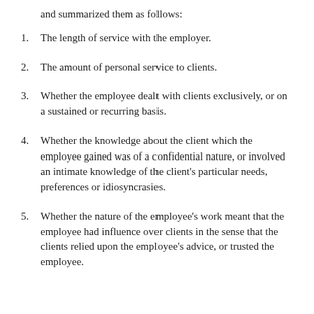and summarized them as follows:
1. The length of service with the employer.
2. The amount of personal service to clients.
3. Whether the employee dealt with clients exclusively, or on a sustained or recurring basis.
4. Whether the knowledge about the client which the employee gained was of a confidential nature, or involved an intimate knowledge of the client's particular needs, preferences or idiosyncrasies.
5. Whether the nature of the employee's work meant that the employee had influence over clients in the sense that the clients relied upon the employee's advice, or trusted the employee.